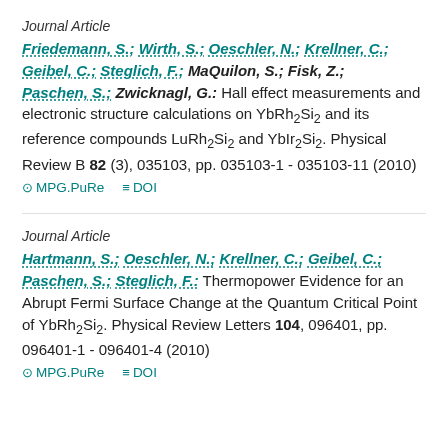Journal Article
Friedemann, S.; Wirth, S.; Oeschler, N.; Krellner, C.; Geibel, C.; Steglich, F.; MaQuilon, S.; Fisk, Z.; Paschen, S.; Zwicknagl, G.: Hall effect measurements and electronic structure calculations on YbRh2Si2 and its reference compounds LuRh2Si2 and YbIr2Si2. Physical Review B 82 (3), 035103, pp. 035103-1 - 035103-11 (2010)
MPG.PuRe   DOI
Journal Article
Hartmann, S.; Oeschler, N.; Krellner, C.; Geibel, C.; Paschen, S.; Steglich, F.: Thermopower Evidence for an Abrupt Fermi Surface Change at the Quantum Critical Point of YbRh2Si2. Physical Review Letters 104, 096401, pp. 096401-1 - 096401-4 (2010)
MPG.PuRe   DOI